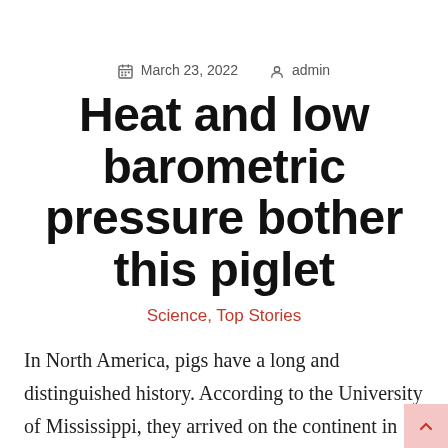March 23, 2022   admin
Heat and low barometric pressure bother this piglet
Science, Top Stories
In North America, pigs have a long and distinguished history. According to the University of Mississippi, they arrived on the continent in the 1500s from